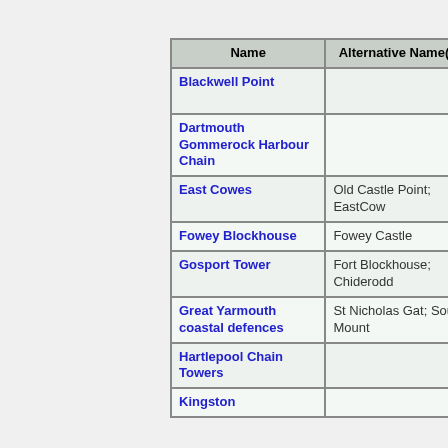| Name | Alternative Name(s) | County | Remains |
| --- | --- | --- | --- |
| Blackwell Point |  | London and Middlesex | no visible |
| Dartmouth Gommerock Harbour Chain |  | Devonshire | cropmark/slig earthwork |
| East Cowes | Old Castle Point; EastCow | Hampshire and the Isle of Wight | no visible |
| Fowey Blockhouse | Fowey Castle | Cornwall | major buildin |
| Gosport Tower | Fort Blockhouse; Chiderodd | Hampshire and the Isle of Wight | no visible |
| Great Yarmouth coastal defences | St Nicholas Gat; South Mount | Norfolk | no visible |
| Hartlepool Chain Towers |  | Durham | no visible |
| Kingston |  |  |  |